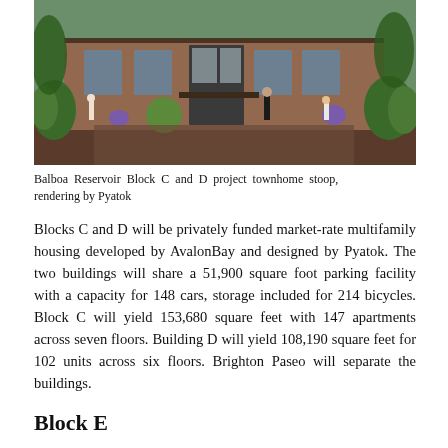[Figure (photo): Architectural rendering of Balboa Reservoir Block C and D project townhome stoop area, showing a modern low-rise building with large windows, brick facade, lush native plantings, and pedestrians walking along a wide pathway.]
Balboa Reservoir Block C and D project townhome stoop, rendering by Pyatok
Blocks C and D will be privately funded market-rate multifamily housing developed by AvalonBay and designed by Pyatok. The two buildings will share a 51,900 square foot parking facility with a capacity for 148 cars, storage included for 214 bicycles. Block C will yield 153,680 square feet with 147 apartments across seven floors. Building D will yield 108,190 square feet for 102 units across six floors. Brighton Paseo will separate the buildings.
Block E